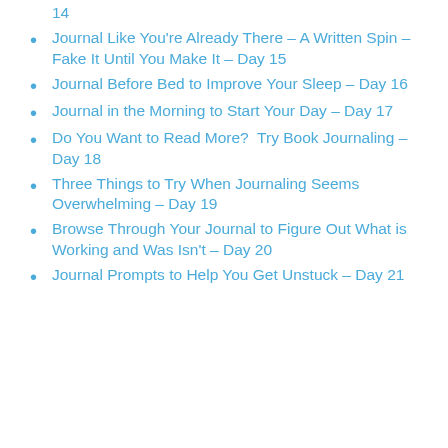Make Your Journal Your Accountability Partner – Day 14
Journal Like You're Already There – A Written Spin – Fake It Until You Make It – Day 15
Journal Before Bed to Improve Your Sleep – Day 16
Journal in the Morning to Start Your Day – Day 17
Do You Want to Read More?  Try Book Journaling – Day 18
Three Things to Try When Journaling Seems Overwhelming – Day 19
Browse Through Your Journal to Figure Out What is Working and Was Isn't – Day 20
Journal Prompts to Help You Get Unstuck – Day 21